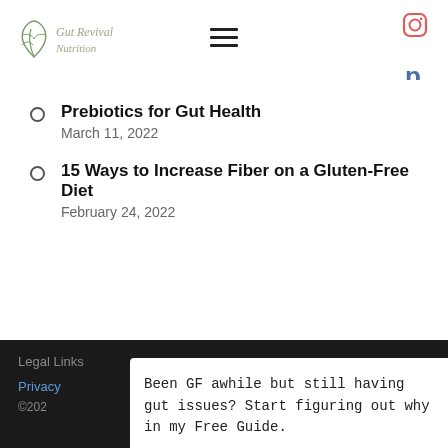Gut Revival Nutrition
Prebiotics for Gut Health
March 11, 2022
15 Ways to Increase Fiber on a Gluten-Free Diet
February 24, 2022
Legal Links
Privacy
©202
Been GF awhile but still having gut issues? Start figuring out why in my Free Guide.